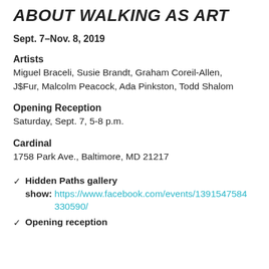ABOUT WALKING AS ART
Sept. 7–Nov. 8, 2019
Artists
Miguel Braceli, Susie Brandt, Graham Coreil-Allen, J$Fur, Malcolm Peacock, Ada Pinkston, Todd Shalom
Opening Reception
Saturday, Sept. 7, 5-8 p.m.
Cardinal
1758 Park Ave., Baltimore, MD 21217
Hidden Paths gallery show: https://www.facebook.com/events/1391547584330590/
Opening reception